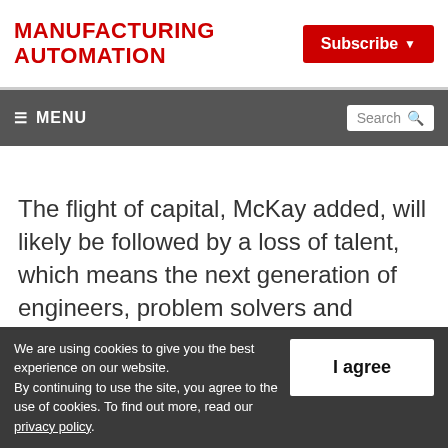MANUFACTURING AUTOMATION
Subscribe
≡ MENU | Search
The flight of capital, McKay added, will likely be followed by a loss of talent, which means the next generation of engineers, problem solvers and intellectual property could be created not north of the border, but south of
We are using cookies to give you the best experience on our website. By continuing to use the site, you agree to the use of cookies. To find out more, read our privacy policy.
I agree